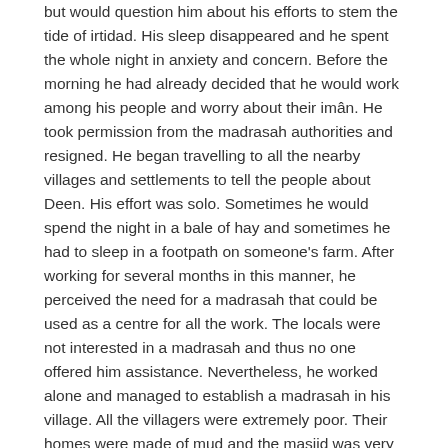but would question him about his efforts to stem the tide of irtidad. His sleep disappeared and he spent the whole night in anxiety and concern. Before the morning he had already decided that he would work among his people and worry about their imân. He took permission from the madrasah authorities and resigned. He began travelling to all the nearby villages and settlements to tell the people about Deen. His effort was solo. Sometimes he would spend the night in a bale of hay and sometimes he had to sleep in a footpath on someone's farm. After working for several months in this manner, he perceived the need for a madrasah that could be used as a centre for all the work. The locals were not interested in a madrasah and thus no one offered him assistance. Nevertheless, he worked alone and managed to establish a madrasah in his village. All the villagers were extremely poor. Their homes were made of mud and the masjid was very small and in a pitiable condition. Initially when the madrasah was made of mud, it used to collapse every year in the rain. None of this discouraged him from urging on. He together with some ustâdh and students built the madrasah with their own hands. When mixing the cement and sand, their hands used to bleed. This building not only includes the perspiration of the teachers and students, but also their blood. In this manner he toiled until he